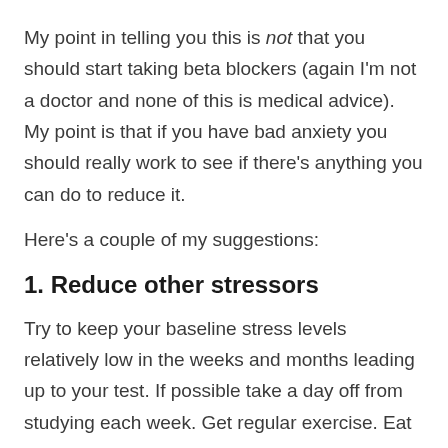My point in telling you this is not that you should start taking beta blockers (again I'm not a doctor and none of this is medical advice). My point is that if you have bad anxiety you should really work to see if there's anything you can do to reduce it.
Here's a couple of my suggestions:
1. Reduce other stressors
Try to keep your baseline stress levels relatively low in the weeks and months leading up to your test. If possible take a day off from studying each week. Get regular exercise. Eat a